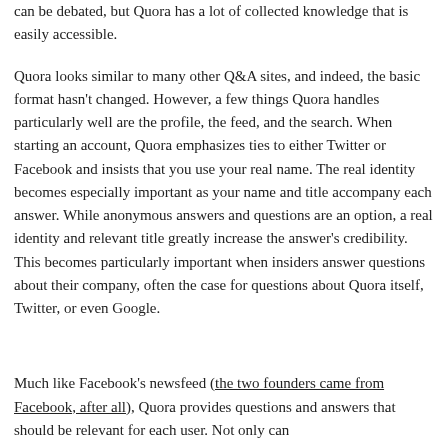can be debated, but Quora has a lot of collected knowledge that is easily accessible.
Quora looks similar to many other Q&A sites, and indeed, the basic format hasn't changed. However, a few things Quora handles particularly well are the profile, the feed, and the search. When starting an account, Quora emphasizes ties to either Twitter or Facebook and insists that you use your real name. The real identity becomes especially important as your name and title accompany each answer. While anonymous answers and questions are an option, a real identity and relevant title greatly increase the answer's credibility. This becomes particularly important when insiders answer questions about their company, often the case for questions about Quora itself, Twitter, or even Google.
Much like Facebook's newsfeed (the two founders came from Facebook, after all), Quora provides questions and answers that should be relevant for each user. Not only can